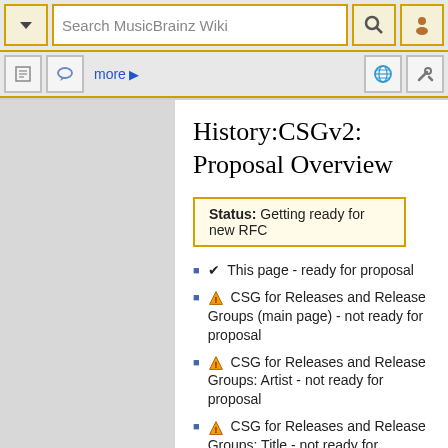[Figure (screenshot): MusicBrainz Wiki browser toolbar with search box, navigation buttons, and icons]
History:CSGv2: Proposal Overview
Status: Getting ready for new RFC
✔ This page - ready for proposal
⚠ CSG for Releases and Release Groups (main page) - not ready for proposal
⚠ CSG for Releases and Release Groups: Artist - not ready for proposal
⚠ CSG for Releases and Release Groups: Title - not ready for proposal
⚠ CSG for Releases and Release Groups: Language and Script - not ready for proposal
⚠ CSG for Tracks and Recordings: